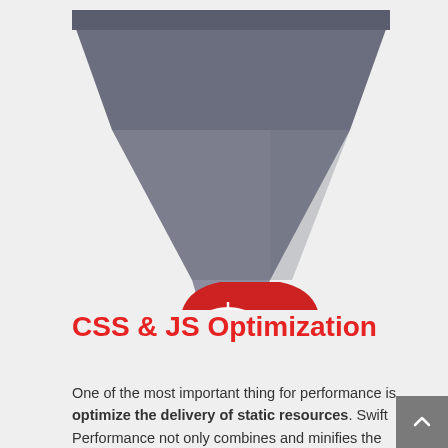[Figure (illustration): A funnel illustration with a dark steel-gray color funneling down into a red shield/badge shape containing a white speedometer icon with a WordPress logo, representing Swift Performance plugin optimization concept.]
CSS & JS Optimization
One of the most important thing for performance is optimize the delivery of static resources. Swift Performance not only combines and minifies the CSS files